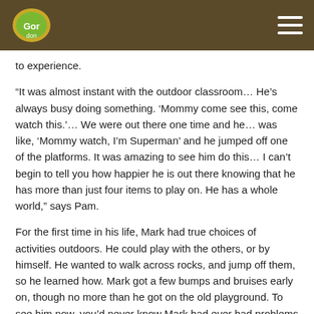[Logo] [Hamburger menu]
to experience.
“It was almost instant with the outdoor classroom… He’s always busy doing something. ‘Mommy come see this, come watch this.’… We were out there one time and he… was like, ‘Mommy watch, I’m Superman’ and he jumped off one of the platforms. It was amazing to see him do this… I can’t begin to tell you how happier he is out there knowing that he has more than just four items to play on. He has a whole world,” says Pam.
For the first time in his life, Mark had true choices of activities outdoors. He could play with the others, or by himself. He wanted to walk across rocks, and jump off them, so he learned how. Mark got a few bumps and bruises early on, though no more than he got on the old playground. To see him now, you’d never know Mark had ever had problems with balance.
But this is only half of Mark’s transformation.